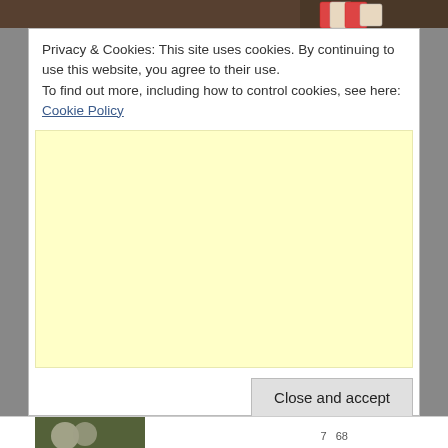[Figure (photo): Top partial image showing playing cards and table surface]
Privacy & Cookies: This site uses cookies. By continuing to use this website, you agree to their use.
To find out more, including how to control cookies, see here: Cookie Policy
[Figure (other): Yellow advertisement placeholder area]
Close and accept
[Figure (photo): Bottom partial image, partially visible]